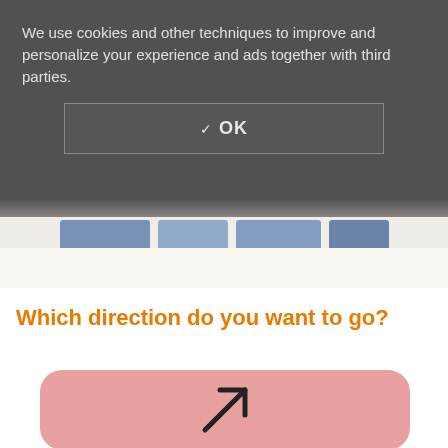We use cookies and other techniques to improve and personalize your experience and ads together with third parties.
[Figure (screenshot): OK button with checkmark in a dark overlay dialog]
[Figure (photo): Strip of photos partially visible below the cookie overlay]
Which direction do you want to go?
[Figure (illustration): Pink rounded card with an upward-right arrow icon]